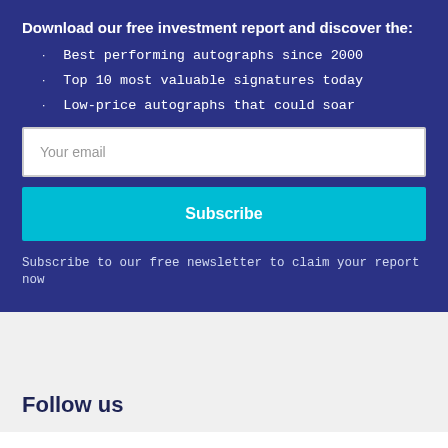Download our free investment report and discover the:
Best performing autographs since 2000
Top 10 most valuable signatures today
Low-price autographs that could soar
Your email
Subscribe
Subscribe to our free newsletter to claim your report now
Follow us